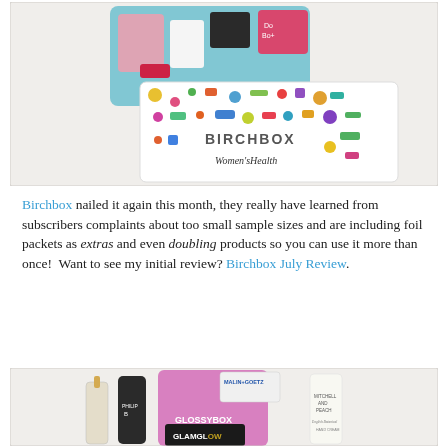[Figure (photo): Photo of a Birchbox subscription box with Women's Health branding, containing various beauty product samples, sitting on a white fuzzy surface]
Birchbox nailed it again this month, they really have learned from subscribers complaints about too small sample sizes and are including foil packets as extras and even doubling products so you can use it more than once!  Want to see my initial review? Birchbox July Review.
[Figure (photo): Photo of GLOSSYBOX subscription box with beauty products including MALIN+GOETZ, GLAMGLOW, PHILIP B, and MITCHELL AND PEACH items arranged on a white fuzzy surface]